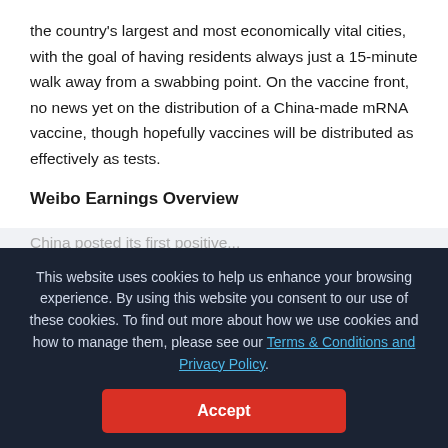the country's largest and most economically vital cities, with the goal of having residents always just a 15-minute walk away from a swabbing point. On the vaccine front, no news yet on the distribution of a China-made mRNA vaccine, though hopefully vaccines will be distributed as effectively as tests.
Weibo Earnings Overview
[partial text row]
This website uses cookies to help us enhance your browsing experience. By using this website you consent to our use of these cookies. To find out more about how we use cookies and how to manage them, please see our Terms & Conditions and Privacy Policy.
Accept